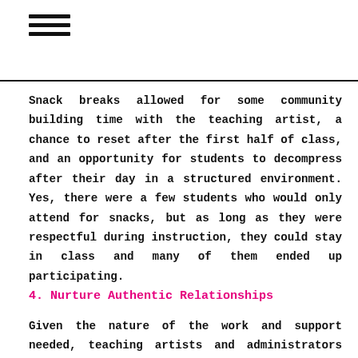≡
Snack breaks allowed for some community building time with the teaching artist, a chance to reset after the first half of class, and an opportunity for students to decompress after their day in a structured environment. Yes, there were a few students who would only attend for snacks, but as long as they were respectful during instruction, they could stay in class and many of them ended up participating.
4. Nurture Authentic Relationships
Given the nature of the work and support needed, teaching artists and administrators will